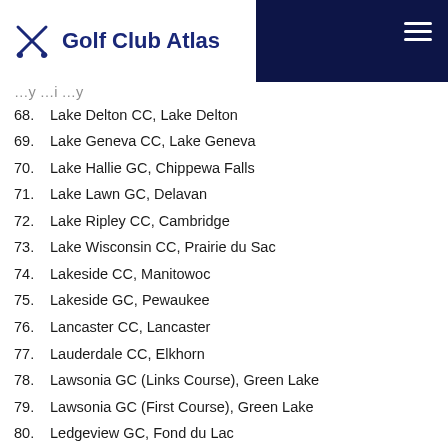Golf Club Atlas
68. Lake Delton CC, Lake Delton
69. Lake Geneva CC, Lake Geneva
70. Lake Hallie GC, Chippewa Falls
71. Lake Lawn GC, Delavan
72. Lake Ripley CC, Cambridge
73. Lake Wisconsin CC, Prairie du Sac
74. Lakeside CC, Manitowoc
75. Lakeside GC, Pewaukee
76. Lancaster CC, Lancaster
77. Lauderdale CC, Elkhorn
78. Lawsonia GC (Links Course), Green Lake
79. Lawsonia GC (First Course), Green Lake
80. Ledgeview GC, Fond du Lac
81. Lincoln Fields GC, Manitowoc
82. Little River CC, Marinette
83. Luck GC, Luck
84. Lynx Club, Milwaukee
85. Maple Bluff GC, Madison
86. Maple Crest CC, Kenosha